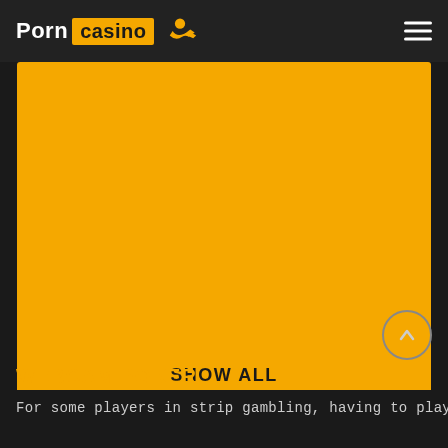Porn casino [logo icon]
[Figure (other): Large orange/amber colored rectangular banner area with 'SHOW ALL' text at the bottom center]
WEBCAM POKER
For some players in strip gambling, having to play webcam